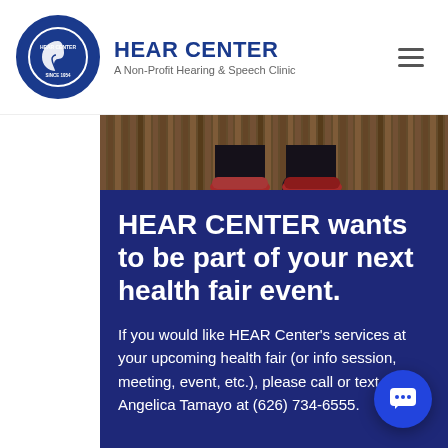HEAR CENTER — A Non-Profit Hearing & Speech Clinic
[Figure (photo): Photo of a person's lower body/feet standing in front of a wooden slatted wall background, cropped to show legs and feet.]
HEAR CENTER wants to be part of your next health fair event.
If you would like HEAR Center's services at your upcoming health fair (or info session, meeting, event, etc.), please call or text Angelica Tamayo at (626) 734-6555.